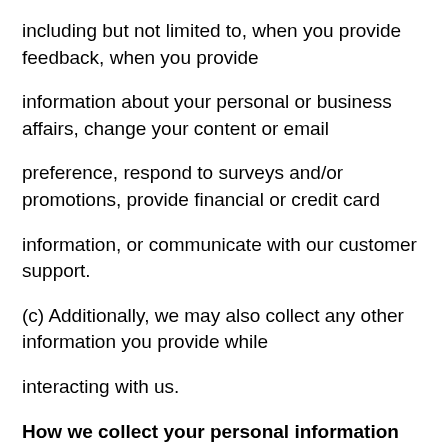including but not limited to, when you provide feedback, when you provide
information about your personal or business affairs, change your content or email
preference, respond to surveys and/or promotions, provide financial or credit card
information, or communicate with our customer support.
(c) Additionally, we may also collect any other information you provide while
interacting with us.
How we collect your personal information
(a) Royalty Scope Pty Ltd collects personal information